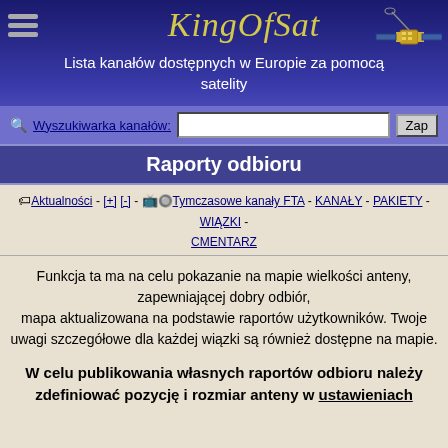[Figure (logo): KingOfSat website header with logo text in yellow italic, hamburger menu icon, satellite illustration, and blue gradient background with subtitle text]
Raporty odbioru
Aktualności - [+] [-] - Tymczasowe kanały FTA - KANAŁY - PAKIETY - WIĄZKI - CMENTARZ
Funkcja ta ma na celu pokazanie na mapie wielkości anteny, zapewniającej dobry odbiór, mapa aktualizowana na podstawie raportów użytkowników. Twoje uwagi szczegółowe dla każdej wiązki są również dostępne na mapie.
W celu publikowania własnych raportów odbioru należy zdefiniować pozycję i rozmiar anteny w ustawieniach